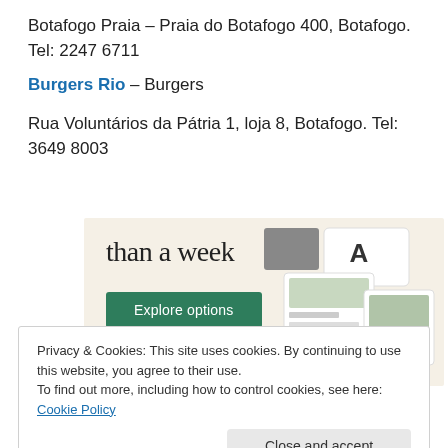Botafogo Praia – Praia do Botafogo 400, Botafogo. Tel: 2247 6711
Burgers Rio – Burgers
Rua Voluntários da Pátria 1, loja 8, Botafogo. Tel: 3649 8003
[Figure (screenshot): Advertisement banner with text 'than a week', a green 'Explore options' button, and mock website UI screenshots on the right.]
Privacy & Cookies: This site uses cookies. By continuing to use this website, you agree to their use.
To find out more, including how to control cookies, see here: Cookie Policy